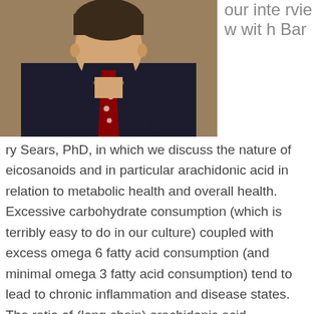[Figure (photo): Professional headshot of a man in a dark suit and red tie with polka dots, against a brown background.]
our interview with Barry Sears, PhD, in which we discuss the nature of eicosanoids and in particular arachidonic acid in relation to metabolic health and overall health. Excessive carbohydrate consumption (which is terribly easy to do in our culture) coupled with excess omega 6 fatty acid consumption (and minimal omega 3 fatty acid consumption) tend to lead to chronic inflammation and disease states. The ratio of (long chain) arachidonic acid